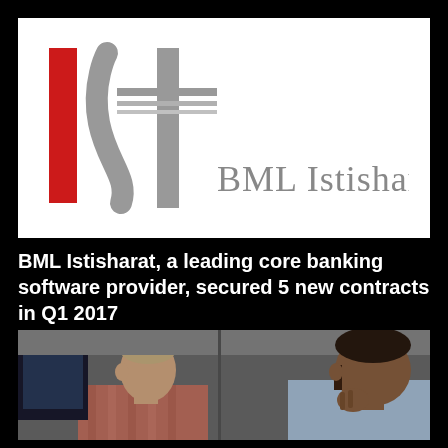[Figure (logo): BML Istisharat logo: red vertical bar on left, stylized grey 'S' and 'T' letterform in center, text 'BML Istisharat' in grey on right]
BML Istisharat, a leading core banking software provider, secured 5 new contracts in Q1 2017
[Figure (photo): Two men sitting at desks looking at computer screens — one blond man in striped shirt in profile, one dark-haired man in light blue shirt resting hand on chin, in an office environment]